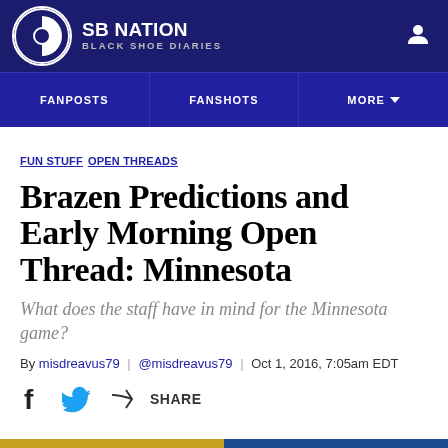SB NATION BLACK SHOE DIARIES
FANPOSTS | FANSHOTS | MORE
FUN STUFF OPEN THREADS
Brazen Predictions and Early Morning Open Thread: Minnesota
What does the staff have in mind for the Minnesota game?
By misdreavus79 | @misdreavus79 | Oct 1, 2016, 7:05am EDT
SHARE